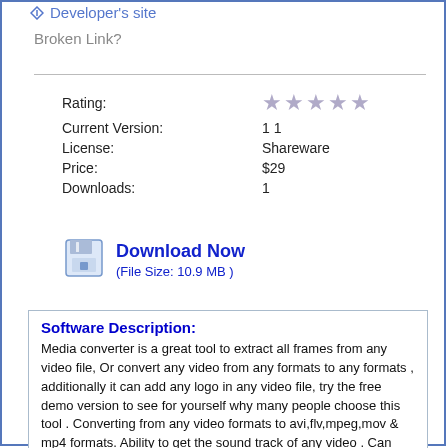Developer's site
Broken Link?
| Rating: | ★★★★★ |
| Current Version: | 1 1 |
| License: | Shareware |
| Price: | $29 |
| Downloads: | 1 |
[Figure (illustration): Floppy disk download icon]
Download Now
(File Size: 10.9 MB )
Software Description:
Media converter is a great tool to extract all frames from any video file, Or convert any video from any formats to any formats , additionally it can add any logo in any video file, try the free demo version to see for yourself why many people choose this tool . Converting from any video formats to avi,flv,mpeg,mov & mp4 formats. Ability to get the sound track of any video . Can convert video to sequence jpg images. Ability to get thumpnail from any video . Ability to remove sound track from any video . Ability to add